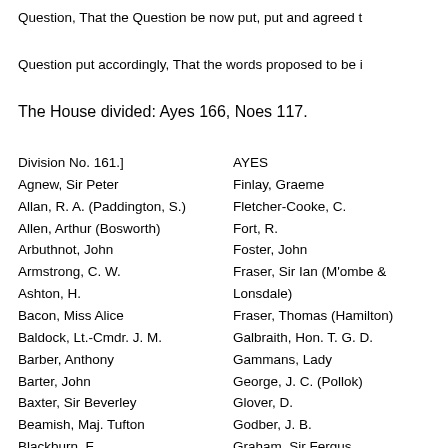Question, That the Question be now put, put and agreed t
Question put accordingly, That the words proposed to be i
The House divided: Ayes 166, Noes 117.
Division No. 161.]
Agnew, Sir Peter
Allan, R. A. (Paddington, S.)
Allen, Arthur (Bosworth)
Arbuthnot, John
Armstrong, C. W.
Ashton, H.
Bacon, Miss Alice
Baldock, Lt.-Cmdr. J. M.
Barber, Anthony
Barter, John
Baxter, Sir Beverley
Beamish, Maj. Tufton
Blackburn, F.
Blyton, W. R.
Boardman, H.
AYES
Finlay, Graeme
Fletcher-Cooke, C.
Fort, R.
Foster, John
Fraser, Sir Ian (M'ombe & Lonsdale)
Fraser, Thomas (Hamilton)
Galbraith, Hon. T. G. D.
Gammans, Lady
George, J. C. (Pollok)
Glover, D.
Godber, J. B.
Graham, Sir Fergus
Green, A.
Gresham Cooke, R.
Gurden, Harold
Hamilton, W. W.